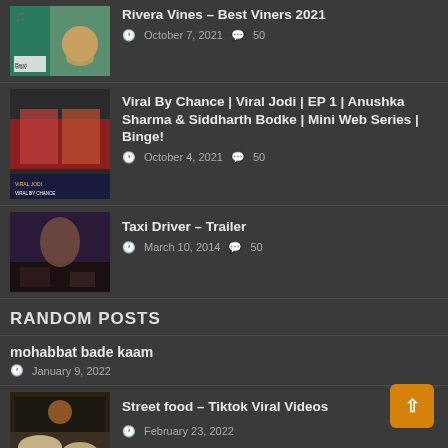Rivera Vines – Best Viners 2021 | October 7, 2021 | 50 comments
Viral By Chance | Viral Jodi | EP 1 | Anushka Sharma & Siddharth Bodke | Mini Web Series | Binge! | October 4, 2021 | 50 comments
Taxi Driver – Trailer | March 10, 2014 | 50 comments
RANDOM POSTS
mohabbat bade kaam | January 9, 2022
Street food – Tiktok Viral Videos | February 23, 2022
Revolution, Revolutions MIX | January 9, 2022